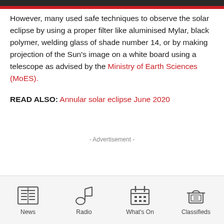However, many used safe techniques to observe the solar eclipse by using a proper filter like aluminised Mylar, black polymer, welding glass of shade number 14, or by making projection of the Sun's image on a white board using a telescope as advised by the Ministry of Earth Sciences (MoES).
READ ALSO: Annular solar eclipse June 2020
- Advertisement -
News | Radio | What's On | Classifieds